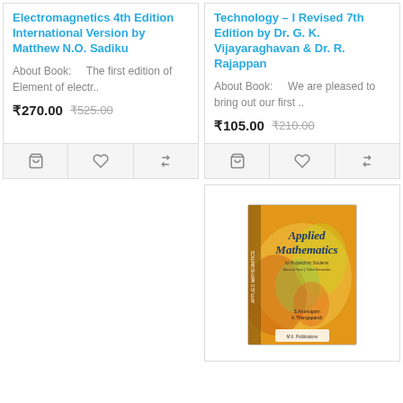Electromagnetics 4th Edition International Version by Matthew N.O. Sadiku
About Book: The first edition of Element of electr..
₹270.00  ₹525.00
Technology – I Revised 7th Edition by Dr. G. K. Vijayaraghavan & Dr. R. Rajappan
About Book: We are pleased to bring out our first ..
₹105.00  ₹210.00
[Figure (photo): Book cover of Applied Mathematics with orange/yellow background]